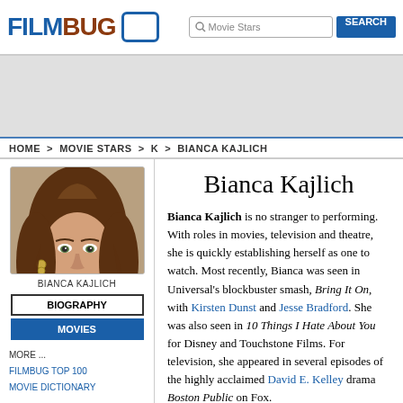FILMBUG
[Figure (logo): FilmBug logo with blue FILM and brown BUG text, plus a search box and SEARCH button]
[Figure (photo): Advertisement banner area (gray)]
HOME > MOVIE STARS > K > BIANCA KAJLICH
[Figure (photo): Headshot photo of Bianca Kajlich, a woman with brown hair]
BIANCA KAJLICH
BIOGRAPHY
MOVIES
MORE ...
FILMBUG TOP 100
MOVIE DICTIONARY
Bianca Kajlich
Bianca Kajlich is no stranger to performing. With roles in movies, television and theatre, she is quickly establishing herself as one to watch. Most recently, Bianca was seen in Universal's blockbuster smash, Bring It On, with Kirsten Dunst and Jesse Bradford. She was also seen in 10 Things I Hate About You for Disney and Touchstone Films. For television, she appeared in several episodes of the highly acclaimed David E. Kelley drama Boston Public on Fox.